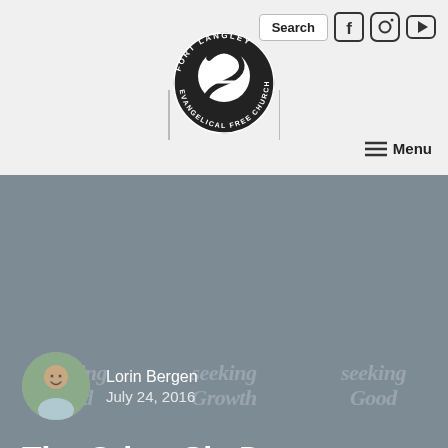[Figure (logo): Fort Langley Evangelical Free Church circular logo with stylized 'f' mark]
Search | Menu | Social icons (Facebook, Instagram, YouTube)
[Figure (illustration): Watermark text: 'seeking God', 'seeking Growth', 'seeking Good' in italic bold on gray background]
The Other Six Days - Prayer
Lorin Bergen
July 24, 2016